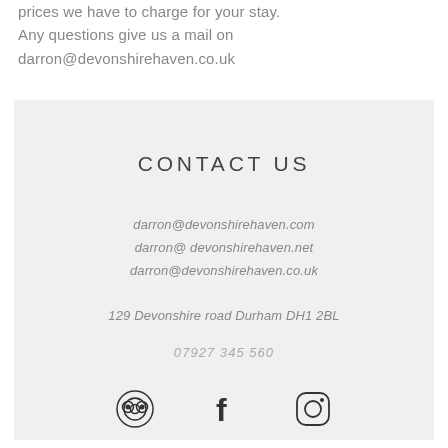prices we have to charge for your stay. Any questions give us a mail on darron@devonshirehaven.co.uk
CONTACT US
darron@devonshirehaven.com
darron@ devonshirehaven.net
darron@devonshirehaven.co.uk
129 Devonshire road Durham DH1 2BL
07927 345 560
[Figure (other): Three social media icons: TripAdvisor (owl circles), Facebook (f), Instagram (camera outline)]